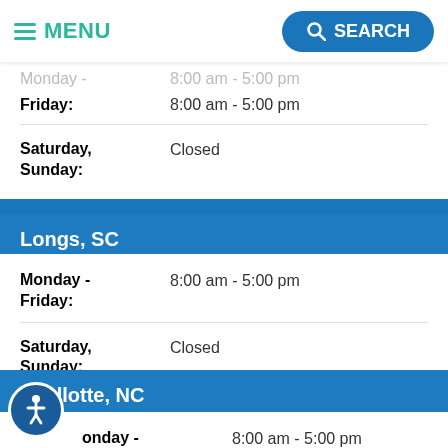MENU | SEARCH
Monday - Friday: 8:00 am - 5:00 pm
Friday: 8:00 am - 5:00 pm
Saturday, Sunday: Closed
Longs, SC
Monday - Friday: 8:00 am - 5:00 pm
Saturday, Sunday: Closed
Shallotte, NC
Monday - Friday: 8:00 am - 5:00 pm